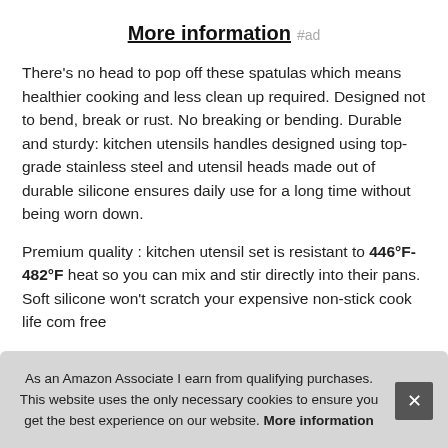More information #ad
There's no head to pop off these spatulas which means healthier cooking and less clean up required. Designed not to bend, break or rust. No breaking or bending. Durable and sturdy: kitchen utensils handles designed using top-grade stainless steel and utensil heads made out of durable silicone ensures daily use for a long time without being worn down.
Premium quality : kitchen utensil set is resistant to 446°F-482°F heat so you can mix and stir directly into their pans. Soft silicone won't scratch your expensive non-stick coo[kware]... life [of]... com[patible]... free[...]
As an Amazon Associate I earn from qualifying purchases. This website uses the only necessary cookies to ensure you get the best experience on our website. More information